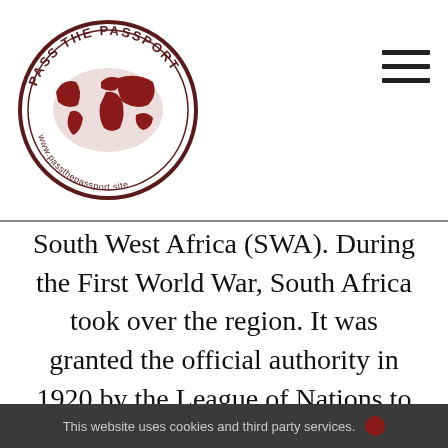[Figure (logo): Pass the Passport circular logo with world map in dark red/maroon, text around the border reading 'PASS THE PASSPORT' and website URL]
South West Africa (SWA). During the First World War, South Africa took over the region. It was granted the official authority in 1920 by the League of Nations to administer SWA. The General Assembly in 1946 advocated for South Africa to set SWA under UN trusteeship but it refused. The UN, therefore, commanded South Africa to end their authority over SWA and
This website uses cookies and third party services.